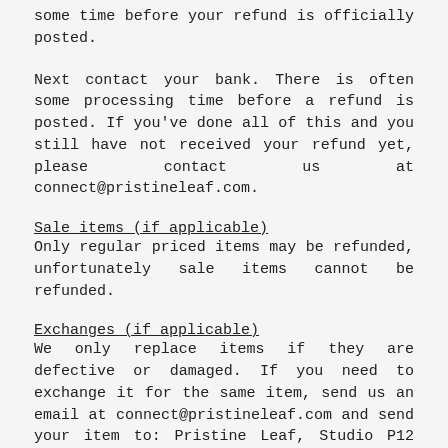some time before your refund is officially posted.
Next contact your bank. There is often some processing time before a refund is posted. If you've done all of this and you still have not received your refund yet, please contact us at connect@pristineleaf.com.
Sale items (if applicable)
Only regular priced items may be refunded, unfortunately sale items cannot be refunded.
Exchanges (if applicable)
We only replace items if they are defective or damaged. If you need to exchange it for the same item, send us an email at connect@pristineleaf.com and send your item to: Pristine Leaf, Studio P12 LLC, P